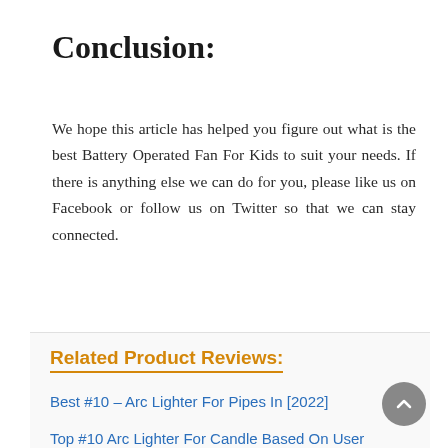Conclusion:
We hope this article has helped you figure out what is the best Battery Operated Fan For Kids to suit your needs. If there is anything else we can do for you, please like us on Facebook or follow us on Twitter so that we can stay connected.
Related Product Reviews:
Best #10 – Arc Lighter For Pipes In [2022]
Top #10 Arc Lighter For Candle Based On User Rating